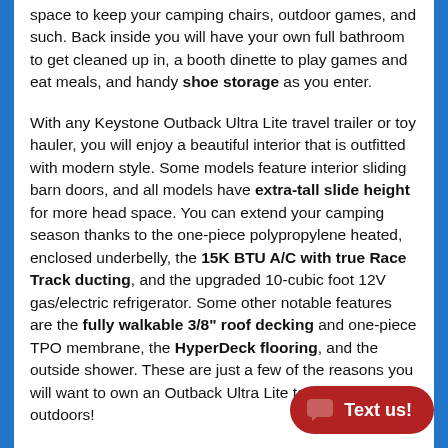space to keep your camping chairs, outdoor games, and such. Back inside you will have your own full bathroom to get cleaned up in, a booth dinette to play games and eat meals, and handy shoe storage as you enter.
With any Keystone Outback Ultra Lite travel trailer or toy hauler, you will enjoy a beautiful interior that is outfitted with modern style. Some models feature interior sliding barn doors, and all models have extra-tall slide height for more head space. You can extend your camping season thanks to the one-piece polypropylene heated, enclosed underbelly, the 15K BTU A/C with true Race Track ducting, and the upgraded 10-cubic foot 12V gas/electric refrigerator. Some other notable features are the fully walkable 3/8" roof decking and one-piece TPO membrane, the HyperDeck flooring, and the outside shower. These are just a few of the reasons you will want to own an Outback Ultra Lite to explore the outdoors!
Interior: